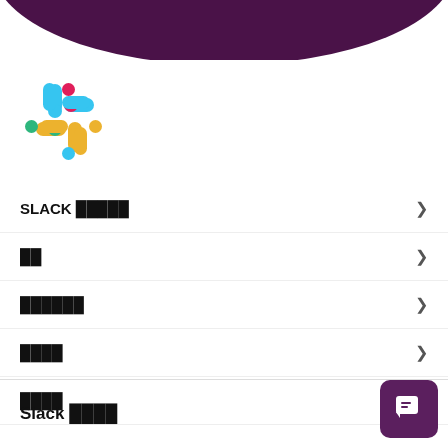[Figure (illustration): Dark purple semicircle arc at top of page]
[Figure (logo): Slack logo with colorful hashtag-like symbol in blue, yellow/orange colors]
SLACK █████ >
██ >
██████ >
█████ >
█████ >
Slack █████
[Figure (illustration): Purple chat/message button in bottom right corner]